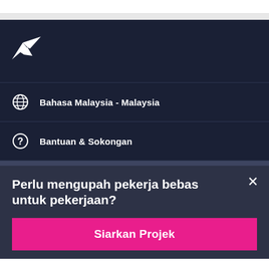[Figure (logo): Freelancer.com bird/logo icon in white on dark navy background]
Bahasa Malaysia - Malaysia
Bantuan & Sokongan
Perlu mengupah pekerja bebas untuk pekerjaan?
Siarkan Projek